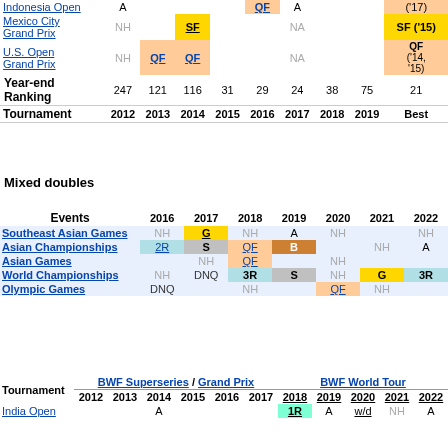| Tournament | 2012 | 2013 | 2014 | 2015 | 2016 | 2017 | 2018 | 2019 | Best |
| --- | --- | --- | --- | --- | --- | --- | --- | --- | --- |
| Indonesia Open | A |  |  |  | QF | A |  |  | ('17) |
| Mexico City Grand Prix | NH |  | SF |  |  | NA |  |  | SF ('15) |
| U.S. Open Grand Prix | NH | QF | QF |  |  | NA |  |  | QF ('14, '15) |
| Year-end Ranking | 247 | 121 | 116 | 31 | 29 | 24 | 38 | 75 | 21 |
| Tournament | 2012 | 2013 | 2014 | 2015 | 2016 | 2017 | 2018 | 2019 | Best |
Mixed doubles
| Events | 2016 | 2017 | 2018 | 2019 | 2020 | 2021 | 2022 |
| --- | --- | --- | --- | --- | --- | --- | --- |
| Southeast Asian Games | NH | G | NH | A | NH |  | NH |
| Asian Championships | 2R | S | QF | B |  | NH | A |
| Asian Games |  | NH | QF |  | NH |  |  |
| World Championships | NH | DNQ | 3R | S | NH | G | 3R |
| Olympic Games | DNQ |  | NH |  | QF | NH |  |
| Tournament | BWF Superseries / Grand Prix 2012-2017 | BWF World Tour 2018-2022 |
| --- | --- | --- |
| India Open | A |  | 1R | A | w/d | NH | A |